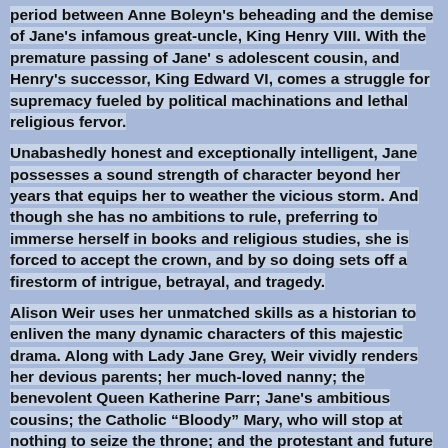period between Anne Boleyn's beheading and the demise of Jane's infamous great-uncle, King Henry VIII. With the premature passing of Jane' s adolescent cousin, and Henry's successor, King Edward VI, comes a struggle for supremacy fueled by political machinations and lethal religious fervor.
Unabashedly honest and exceptionally intelligent, Jane possesses a sound strength of character beyond her years that equips her to weather the vicious storm. And though she has no ambitions to rule, preferring to immerse herself in books and religious studies, she is forced to accept the crown, and by so doing sets off a firestorm of intrigue, betrayal, and tragedy.
Alison Weir uses her unmatched skills as a historian to enliven the many dynamic characters of this majestic drama. Along with Lady Jane Grey, Weir vividly renders her devious parents; her much-loved nanny; the benevolent Queen Katherine Parr; Jane's ambitious cousins; the Catholic “Bloody” Mary, who will stop at nothing to seize the throne; and the protestant and future queen Elizabeth. Readers venture inside royal drawing rooms and bedchambers to witness the power-grabbing that swirls around Lady Jane Grey from the day of her birth to her